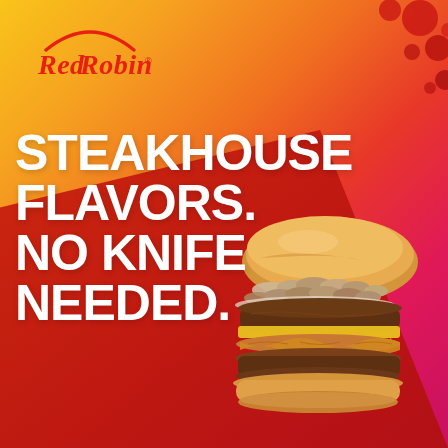[Figure (illustration): Red Robin restaurant advertisement with orange-to-magenta gradient background, diagonal red band, Red Robin logo top left, decorative red circles top right, large white bold text 'STEAKHOUSE FLAVORS. NO KNIFE NEEDED.' on left, and a photo-realistic steakhouse burger with mushrooms, cheese and onion straws on the right.]
STEAKHOUSE FLAVORS. NO KNIFE NEEDED.